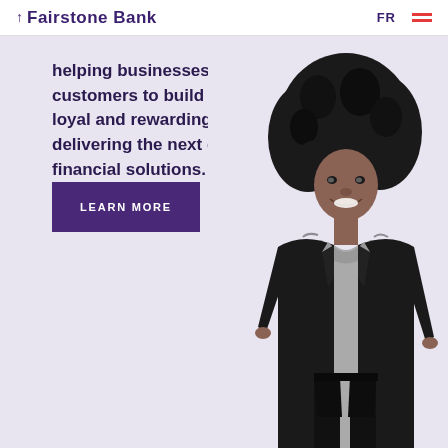Fairstone Bank | FR
helping businesses connect with their customers to build stronger, more loyal and rewarding relationships by delivering the next generation of financial solutions.
LEARN MORE
[Figure (photo): Black and white photo of a smiling woman with natural afro hair wearing a black blazer and grey top, posed against the light purple background]